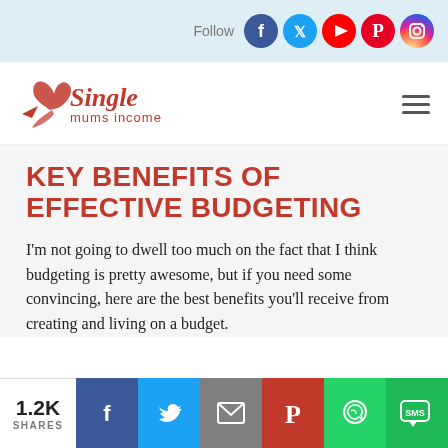Follow [social icons: Facebook, Twitter, YouTube, Pinterest, Instagram]
[Figure (logo): Single Mums Income logo in red script/serif font with decorative bird icon]
KEY BENEFITS OF EFFECTIVE BUDGETING
I'm not going to dwell too much on the fact that I think budgeting is pretty awesome, but if you need some convincing, here are the best benefits you'll receive from creating and living on a budget.
1.2K SHARES [Facebook, Twitter, Email, Pinterest, WhatsApp, SMS share buttons]